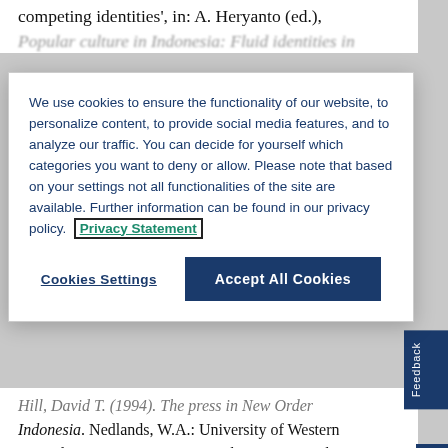competing identities', in: A. Heryanto (ed.),
Hill, David T. (1994). The press in New Order Indonesia. Nedlands, W.A.: University of Western Australia Press in association with Asia Research Institute on Social, Political and Economic Change.
We use cookies to ensure the functionality of our website, to personalize content, to provide social media features, and to analyze our traffic. You can decide for yourself which categories you want to deny or allow. Please note that based on your settings not all functionalities of the site are available. Further information can be found in our privacy policy. Privacy Statement
Cookies Settings
Accept All Cookies
Hobart, Mark (2010). 'Rich kids can't cry: Reflections on the viewing subject in Bali', About Performance [Special Issue: